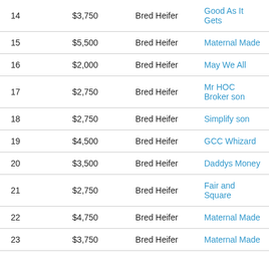| Lot | Price | Type | Sire |
| --- | --- | --- | --- |
| 14 | $3,750 | Bred Heifer | Good As It Gets |
| 15 | $5,500 | Bred Heifer | Maternal Made |
| 16 | $2,000 | Bred Heifer | May We All |
| 17 | $2,750 | Bred Heifer | Mr HOC Broker son |
| 18 | $2,750 | Bred Heifer | Simplify son |
| 19 | $4,500 | Bred Heifer | GCC Whizard |
| 20 | $3,500 | Bred Heifer | Daddys Money |
| 21 | $2,750 | Bred Heifer | Fair and Square |
| 22 | $4,750 | Bred Heifer | Maternal Made |
| 23 | $3,750 | Bred Heifer | Maternal Made |